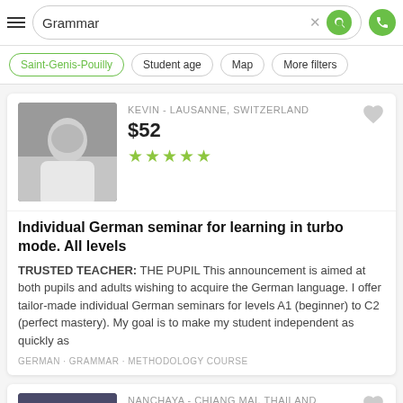Grammar — search bar with Saint-Genis-Pouilly, Student age, Map, More filters
KEVIN - LAUSANNE, SWITZERLAND · $52 · 5 stars
Individual German seminar for learning in turbo mode. All levels
TRUSTED TEACHER: THE PUPIL This announcement is aimed at both pupils and adults wishing to acquire the German language. I offer tailor-made individual German seminars for levels A1 (beginner) to C2 (perfect mastery). My goal is to make my student independent as quickly as
GERMAN · GRAMMAR · METHODOLOGY COURSE
NANCHAYA - CHIANG MAI, THAILAND · $16 · 5 stars
Daily Conversational Thai, Reading and Writing Thai